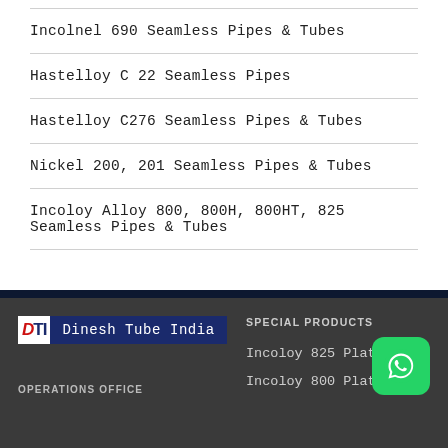Incolnel 690 Seamless Pipes & Tubes
Hastelloy C 22 Seamless Pipes
Hastelloy C276 Seamless Pipes & Tubes
Nickel 200, 201 Seamless Pipes & Tubes
Incoloy Alloy 800, 800H, 800HT, 825 Seamless Pipes & Tubes
[Figure (logo): Dinesh Tube India logo with DTI initials in red on white background, company name in white on dark blue background]
SPECIAL PRODUCTS
OPERATIONS OFFICE
Incoloy 825 Plates
Incoloy 800 Plates
[Figure (logo): WhatsApp icon button in green]